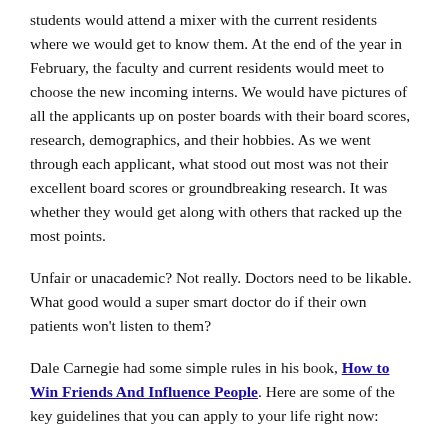students would attend a mixer with the current residents where we would get to know them. At the end of the year in February, the faculty and current residents would meet to choose the new incoming interns. We would have pictures of all the applicants up on poster boards with their board scores, research, demographics, and their hobbies. As we went through each applicant, what stood out most was not their excellent board scores or groundbreaking research. It was whether they would get along with others that racked up the most points.
Unfair or unacademic? Not really. Doctors need to be likable. What good would a super smart doctor do if their own patients won't listen to them?
Dale Carnegie had some simple rules in his book, How to Win Friends And Influence People. Here are some of the key guidelines that you can apply to your life right now: